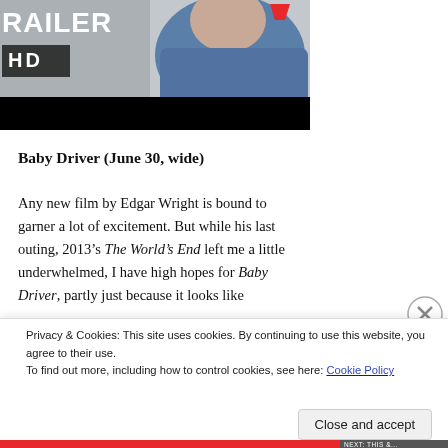[Figure (screenshot): Video thumbnail showing a movie trailer banner with 'RAILER' text in white bold letters and a red play icon, 'HD' label in a dark grey box, and a man in a blue t-shirt visible in the right portion. Below is a black video control bar.]
Baby Driver (June 30, wide)
Any new film by Edgar Wright is bound to garner a lot of excitement. But while his last outing, 2013’s The World’s End left me a little underwhelmed, I have high hopes for Baby Driver, partly just because it looks like
Privacy & Cookies: This site uses cookies. By continuing to use this website, you agree to their use.
To find out more, including how to control cookies, see here: Cookie Policy
Close and accept